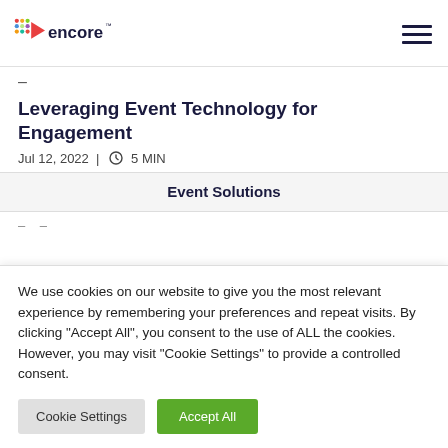encore (logo) | hamburger menu
-
Leveraging Event Technology for Engagement
Jul 12, 2022  |  ⏱ 5 MIN
Event Solutions
- -
We use cookies on our website to give you the most relevant experience by remembering your preferences and repeat visits. By clicking "Accept All", you consent to the use of ALL the cookies. However, you may visit "Cookie Settings" to provide a controlled consent.